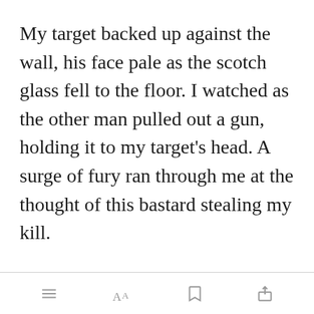My target backed up against the wall, his face pale as the scotch glass fell to the floor. I watched as the other man pulled out a gun, holding it to my target's head. A surge of fury ran through me at the thought of this bastard stealing my kill.
Leaning down and adjusting my sights, I let ou[Open in app]n and aimed